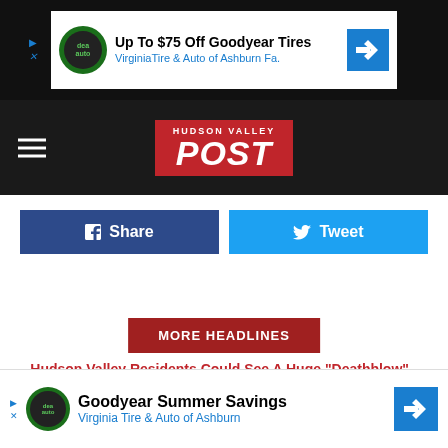[Figure (screenshot): Advertisement banner for Virginia Tire & Auto of Ashburn - Up To $75 Off Goodyear Tires]
[Figure (logo): Hudson Valley POST logo on red background]
Share
Tweet
MORE HEADLINES
Hudson Valley Residents Could See A Huge "Deathblow" Increase In Taxes
...r Teen
...With
[Figure (screenshot): Goodyear Summer Savings advertisement - Virginia Tire & Auto of Ashburn]